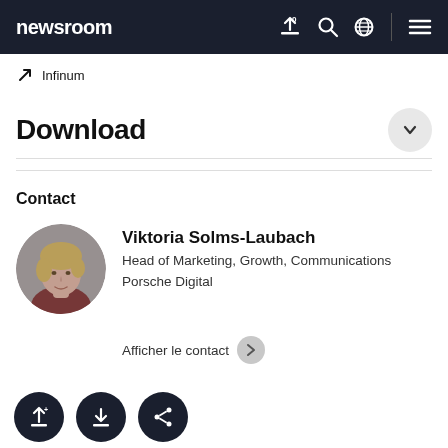newsroom
↗ Infinum
Download
Contact
[Figure (photo): Circular portrait photo of Viktoria Solms-Laubach, a woman with blonde hair]
Viktoria Solms-Laubach
Head of Marketing, Growth, Communications
Porsche Digital
Afficher le contact